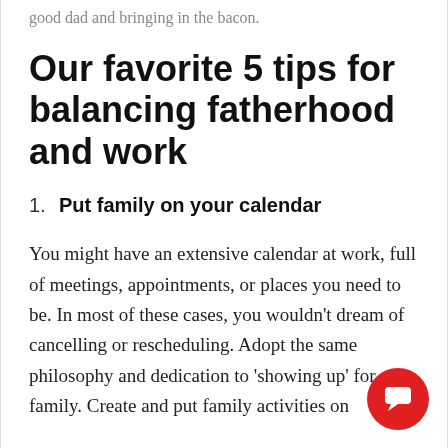good dad and bringing in the bacon.
Our favorite 5 tips for balancing fatherhood and work
1.  Put family on your calendar
You might have an extensive calendar at work, full of meetings, appointments, or places you need to be. In most of these cases, you wouldn't dream of cancelling or rescheduling. Adopt the same philosophy and dedication to 'showing up' for your family. Create and put family activities on